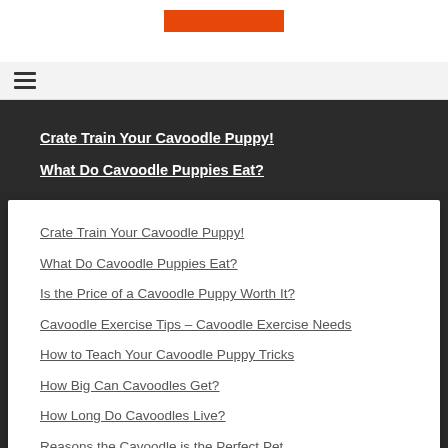Crate Train Your Cavoodle Puppy!
What Do Cavoodle Puppies Eat?
Crate Train Your Cavoodle Puppy!
What Do Cavoodle Puppies Eat?
Is the Price of a Cavoodle Puppy Worth It?
Cavoodle Exercise Tips – Cavoodle Exercise Needs
How to Teach Your Cavoodle Puppy Tricks
How Big Can Cavoodles Get?
How Long Do Cavoodles Live?
Reasons the Cavoodle is the Perfect Pet
Should You Get a Cavoodle in 2021?